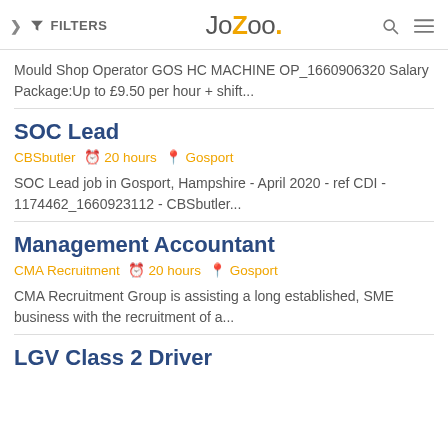FILTERS | JoZoo. | search | menu
Mould Shop Operator GOS HC MACHINE OP_1660906320 Salary Package:Up to £9.50 per hour + shift...
SOC Lead
CBSbutler  20 hours  Gosport
SOC Lead job in Gosport, Hampshire - April 2020 - ref CDI - 1174462_1660923112 - CBSbutler...
Management Accountant
CMA Recruitment  20 hours  Gosport
CMA Recruitment Group is assisting a long established, SME business with the recruitment of a...
LGV Class 2 Driver